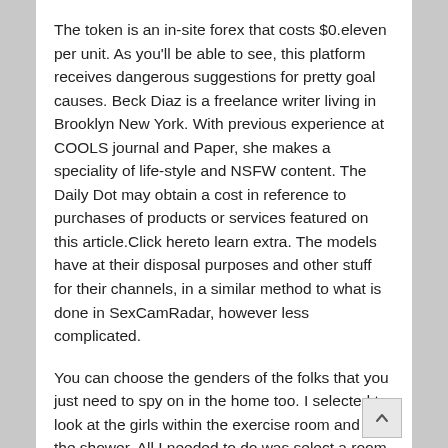The token is an in-site forex that costs $0.eleven per unit. As you'll be able to see, this platform receives dangerous suggestions for pretty goal causes. Beck Diaz is a freelance writer living in Brooklyn New York. With previous experience at COOLS journal and Paper, she makes a speciality of life-style and NSFW content. The Daily Dot may obtain a cost in reference to purchases of products or services featured on this article.Click hereto learn extra. The models have at their disposal purposes and other stuff for their channels, in a similar method to what is done in SexCamRadar, however less complicated.
You can choose the genders of the folks that you just need to spy on in the home too. I selected to look at the girls within the exercise room and in the shower. All I needed to do was select a room and I was capable of watch something that was occurring in the room. When I did my preliminary analysis I couldn't discover a single review on this site.